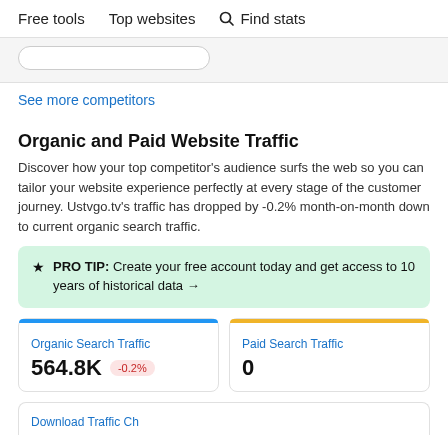Free tools   Top websites   🔍 Find stats
See more competitors
Organic and Paid Website Traffic
Discover how your top competitor's audience surfs the web so you can tailor your website experience perfectly at every stage of the customer journey. Ustvgo.tv's traffic has dropped by -0.2% month-on-month down to current organic search traffic.
★ PRO TIP: Create your free account today and get access to 10 years of historical data →
| Organic Search Traffic | Paid Search Traffic |
| --- | --- |
| 564.8K -0.2% | 0 |